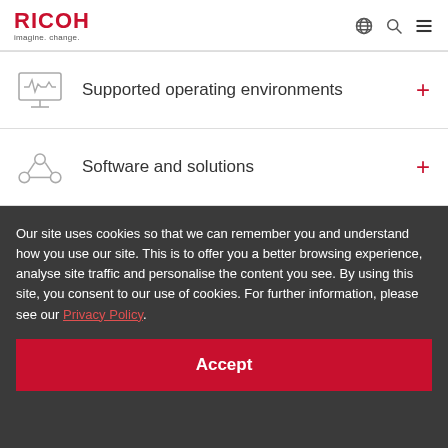RICOH imagine. change.
Supported operating environments
Software and solutions
Our site uses cookies so that we can remember you and understand how you use our site. This is to offer you a better browsing experience, analyse site traffic and personalise the content you see. By using this site, you consent to our use of cookies. For further information, please see our Privacy Policy.
Accept